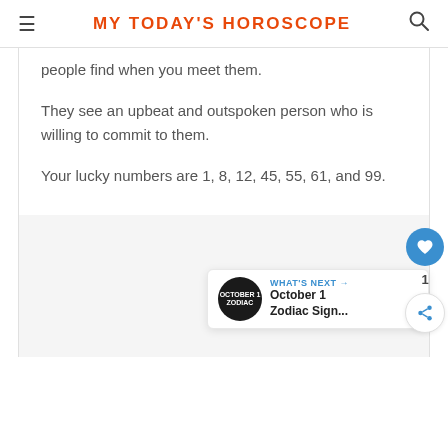MY TODAY'S HOROSCOPE
people find when you meet them.
They see an upbeat and outspoken person who is willing to commit to them.
Your lucky numbers are 1, 8, 12, 45, 55, 61, and 99.
WHAT'S NEXT → October 1 Zodiac Sign...